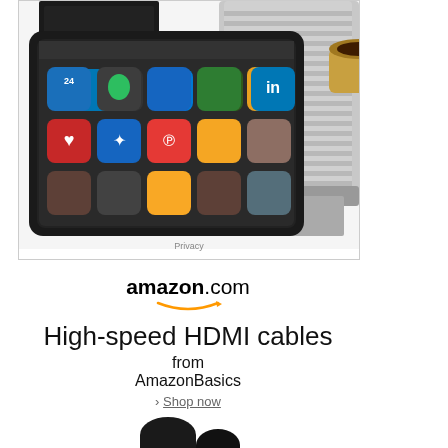[Figure (photo): Advertisement showing an Amazon Kindle Fire tablet in foreground with various app icons visible, and a Nespresso espresso machine in the background. A Privacy label appears at the bottom of the ad unit.]
Privacy
[Figure (logo): Amazon.com logo with orange smile/arrow underneath]
High-speed HDMI cables from AmazonBasics › Shop now
[Figure (photo): Partial view of black HDMI cables against white background]